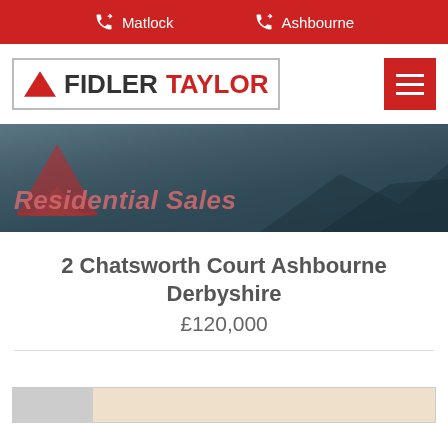Matlock  Ashbourne
[Figure (logo): Fidler Taylor real estate agency logo with red triangle and hamburger menu button]
[Figure (photo): Residential Sales hero banner with dark landscape photo overlay and red triangle watermark logo]
2 Chatsworth Court Ashbourne Derbyshire
£120,000
[Figure (other): Partial view of a property details table at the bottom of the page]